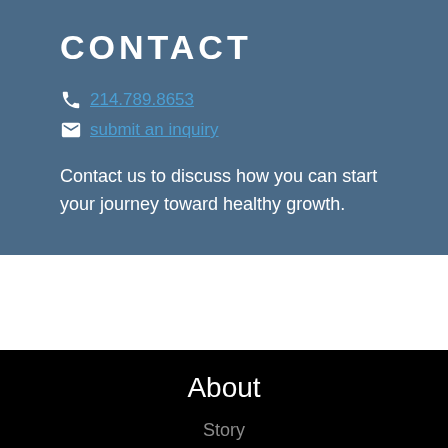CONTACT
📞 214.789.8653
✉ submit an inquiry
Contact us to discuss how you can start your journey toward healthy growth.
About
Story
People